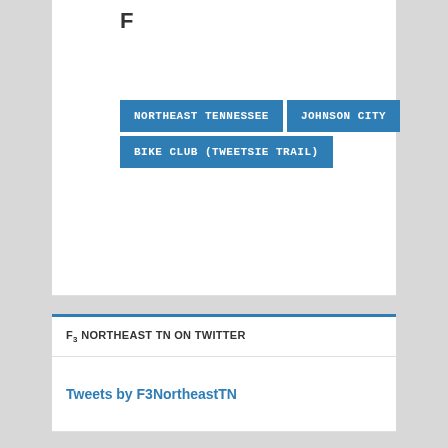F
NORTHEAST TENNESSEE
JOHNSON CITY
BIKE CLUB (TWEETSIE TRAIL)
F3 NORTHEAST TN ON TWITTER
Tweets by F3NortheastTN
F3 NORTHEAST TN ON FACEBOOK